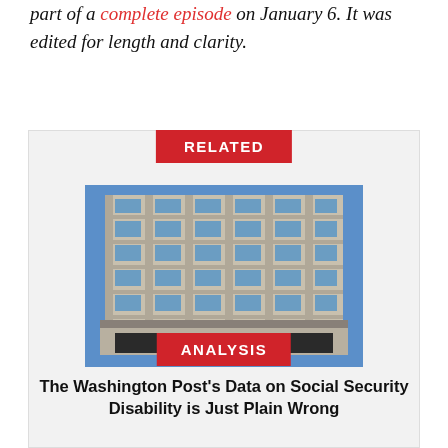part of a complete episode on January 6. It was edited for length and clarity.
RELATED
[Figure (photo): Exterior photograph of The Washington Post building, a multi-story modernist structure with a grid of windows and blue sky in the background, with The Washington Post script sign visible at the base.]
ANALYSIS
The Washington Post's Data on Social Security Disability is Just Plain Wrong